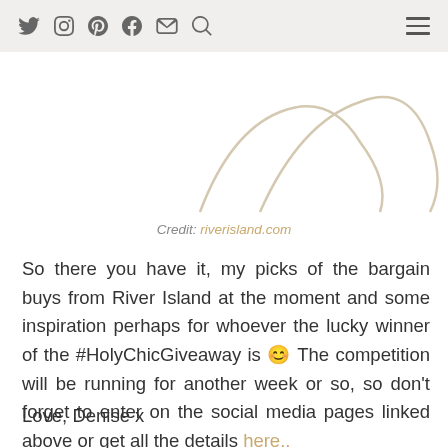[social media icons: Twitter, Instagram, Pinterest, Facebook, Email, Search] [hamburger menu]
[Figure (illustration): Partial view of decorative curved line illustration on white background, suggesting shoe or fashion item outlines in beige/cream tone]
Credit: riverisland.com
So there you have it, my picks of the bargain buys from River Island at the moment and some inspiration perhaps for whoever the lucky winner of the #HolyChicGiveaway is 😊 The competition will be running for another week or so, so don't forget to enter on the social media pages linked above or get all the details here..
Love, Denise x